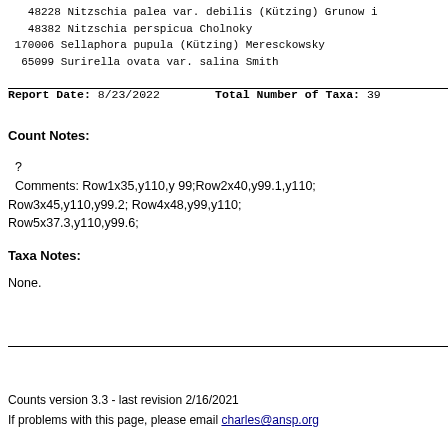48228 Nitzschia palea var. debilis (Kützing) Grunow i
48382 Nitzschia perspicua Cholnoky
170006 Sellaphora pupula (Kützing) Meresckowsky
65099 Surirella ovata var. salina Smith
Report Date: 8/23/2022    Total Number of Taxa: 39
Count Notes:
?
  Comments: Row1x35,y110,y 99;Row2x40,y99.1,y110;
Row3x45,y110,y99.2; Row4x48,y99,y110;
Row5x37.3,y110,y99.6;
Taxa Notes:
None.
Counts version 3.3 - last revision 2/16/2021
If problems with this page, please email charles@ansp.org